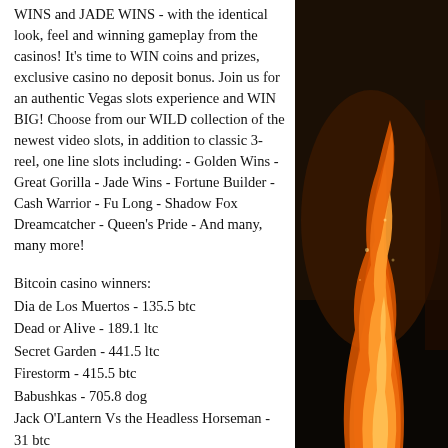WINS and JADE WINS - with the identical look, feel and winning gameplay from the casinos! It's time to WIN coins and prizes, exclusive casino no deposit bonus. Join us for an authentic Vegas slots experience and WIN BIG! Choose from our WILD collection of the newest video slots, in addition to classic 3-reel, one line slots including: - Golden Wins - Great Gorilla - Jade Wins - Fortune Builder - Cash Warrior - Fu Long - Shadow Fox Dreamcatcher - Queen's Pride - And many, many more!
Bitcoin casino winners:
Dia de Los Muertos - 135.5 btc
Dead or Alive - 189.1 ltc
Secret Garden - 441.5 ltc
Firestorm - 415.5 btc
Babushkas - 705.8 dog
Jack O'Lantern Vs the Headless Horseman - 31 btc
[Figure (photo): Dark photo of fire/flames with orange and red colors against a dark background]